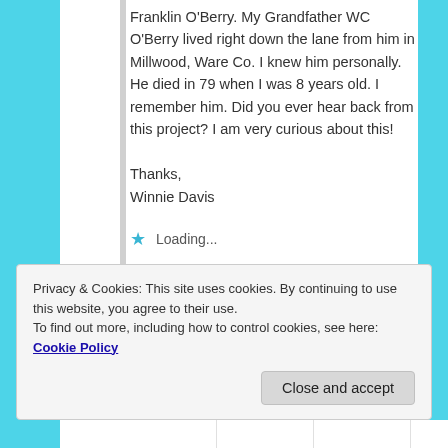Franklin O'Berry. My Grandfather WC O'Berry lived right down the lane from him in Millwood, Ware Co. I knew him personally. He died in 79 when I was 8 years old. I remember him. Did you ever hear back from this project? I am very curious about this!
Thanks,
Winnie Davis
Loading...
Reply ↓
Privacy & Cookies: This site uses cookies. By continuing to use this website, you agree to their use.
To find out more, including how to control cookies, see here: Cookie Policy
Close and accept